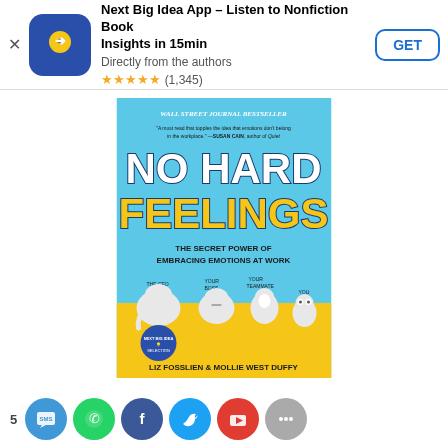[Figure (screenshot): App store advertisement banner for 'Next Big Idea App – Listen to Nonfiction Book Insights in 15min'. Includes app icon (blue background with yellow lightbulb/arrow), title text, subtitle 'Directly from the authors', star rating ★★★★★ (1,345), and a 'GET' button.]
[Figure (photo): Book cover of 'No Hard Feelings: The Secret Power of Embracing Emotions at Work' by Liz Fosslien & Mollie West Duffy. Blue background with cartoon illustrations of animals (elephant, seal/walrus, penguin, owl) sitting at a yellow table. Wall Street Journal Bestseller noted at top.]
[Figure (infographic): Bottom social sharing bar with circular icon buttons: SMS (blue), WhatsApp (green), Facebook (dark blue), Twitter (light blue), YouTube (red), and more. Share count '5' shown on left.]